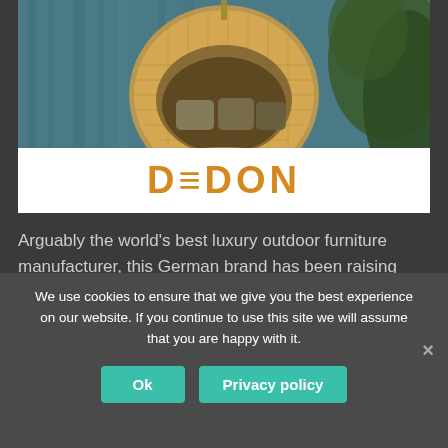[Figure (photo): A wicker/rattan hanging pod chair/swing with cushions, suspended near a waterfall and greenery background — luxury outdoor furniture product photo]
[Figure (logo): DEDON brand logo in orange/amber bold text on white banner background]
Arguably the world's best luxury outdoor furniture manufacturer, this German brand has been raising the bar ...
Continue reading
We use cookies to ensure that we give you the best experience on our website. If you continue to use this site we will assume that you are happy with it.